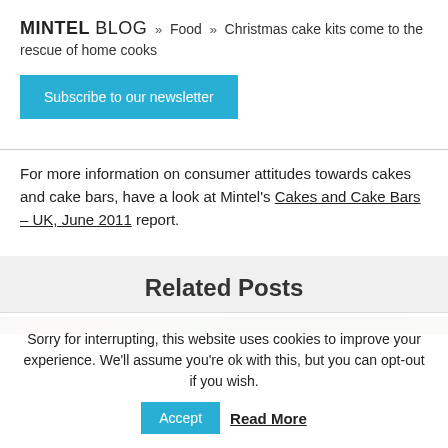MINTEL BLOG » Food » Christmas cake kits come to the rescue of home cooks
[Figure (other): Subscribe to our newsletter button (cyan/blue background)]
For more information on consumer attitudes towards cakes and cake bars, have a look at Mintel's Cakes and Cake Bars – UK, June 2011 report.
Related Posts
[Figure (photo): Narrow strip of a related post thumbnail image]
Sorry for interrupting, this website uses cookies to improve your experience. We'll assume you're ok with this, but you can opt-out if you wish. Accept Read More